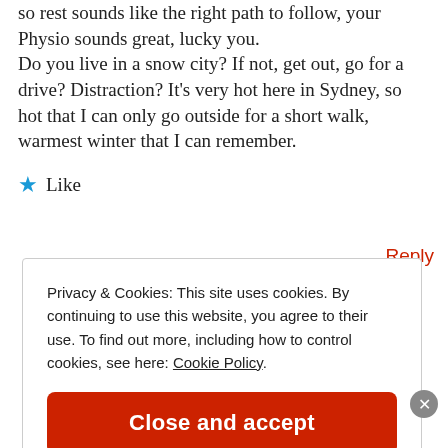so rest sounds like the right path to follow, your Physio sounds great, lucky you.
Do you live in a snow city? If not, get out, go for a drive? Distraction? It’s very hot here in Sydney, so hot that I can only go outside for a short walk, warmest winter that I can remember.
★ Like
Reply
Privacy & Cookies: This site uses cookies. By continuing to use this website, you agree to their use. To find out more, including how to control cookies, see here: Cookie Policy
Close and accept